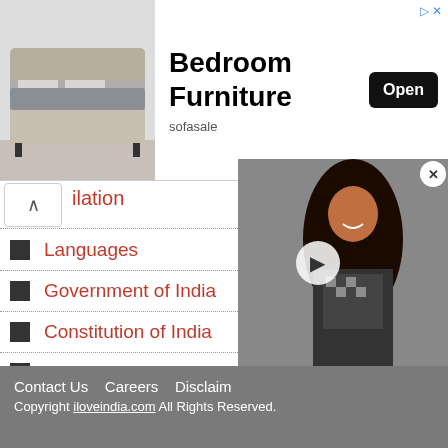[Figure (photo): Advertisement banner for Bedroom Furniture from sofasale with a photo of a modern bed, Open button, and ad icons]
ilation
Languages
Government of India
Constitution of India
National Symbols
Airports in India
India City Guide
Indian Geography
Contact Us   Careers   Disclaim
Copyright iloveindia.com All Rights Reserved.
[Figure (photo): Video thumbnail overlay showing a woman with long dark hair, with a play button and close/X button]